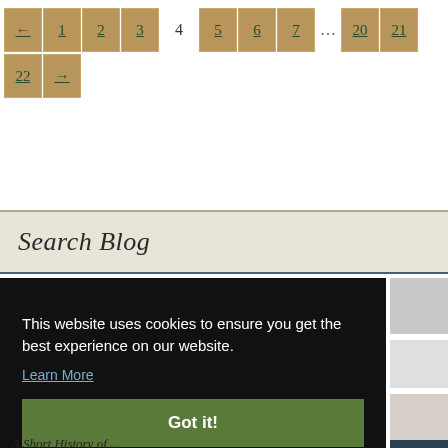[Figure (other): Pagination navigation with buttons: ←, 1, 2, 3, (current page 4), 5, 6, 7, ..., 20, 21, 22, →]
Search Blog
This website uses cookies to ensure you get the best experience on our website.
Learn More
Got it!
A Short History of ... (truncated)